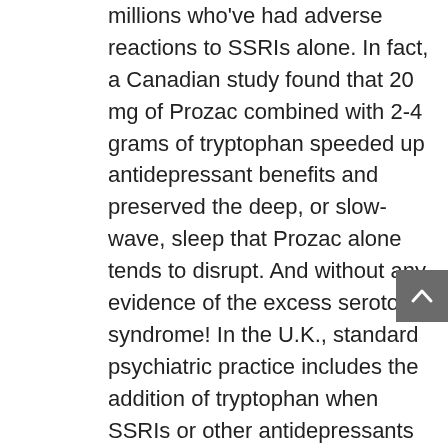millions who've had adverse reactions to SSRIs alone. In fact, a Canadian study found that 20 mg of Prozac combined with 2-4 grams of tryptophan speeded up antidepressant benefits and preserved the deep, or slow-wave, sleep that Prozac alone tends to disrupt. And without any evidence of the excess serotonin syndrome! In the U.K., standard psychiatric practice includes the addition of tryptophan when SSRIs or other antidepressants don't work well alone.
Into this happy scene, one day in 1989, came a very badly contaminated batch of tryptophan. The guilty Japanese amino acid manufacturer admitted later, in court, that it had knowingly sent it to the United States. It did enough damage (including killing over forty people) to terrify users and physicians all over the United States, and the...